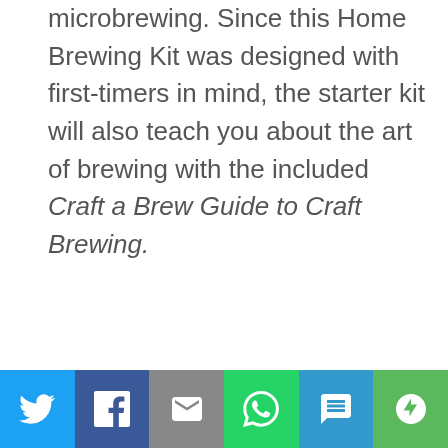microbrewing. Since this Home Brewing Kit was designed with first-timers in mind, the starter kit will also teach you about the art of brewing with the included Craft a Brew Guide to Craft Brewing.
[Figure (other): Social media share bar with buttons for Twitter, Facebook, Email, WhatsApp, SMS, and More]